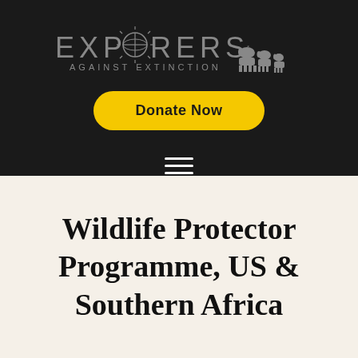[Figure (logo): Explorers Against Extinction logo with compass/globe icon and elephant silhouettes, white/grey text on dark background]
[Figure (other): Yellow rounded rectangle 'Donate Now' button]
[Figure (other): Hamburger menu icon (three horizontal white lines)]
Wildlife Protector Programme, US & Southern Africa